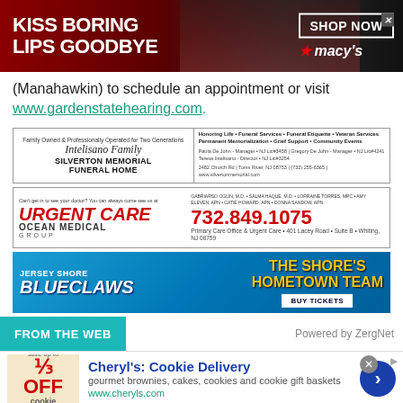[Figure (infographic): Macy's advertisement banner: 'KISS BORING LIPS GOODBYE' with woman's face, red lips, SHOP NOW button, Macy's logo with star]
(Manahawkin) to schedule an appointment or visit
www.gardenstatehearing.com.
[Figure (infographic): Intelisano Family Silverton Memorial Funeral Home advertisement - Family Owned & Professionally Operated for Two Generations, contact info, 2482 Church Rd, Toms River NJ 08753, 732-255-6365]
[Figure (infographic): Ocean Medical Group Urgent Care advertisement - 732.849.1075, Primary Care Office & Urgent Care, 401 Lacey Road, Suite B, Whiting, NJ 08759]
[Figure (infographic): Jersey Shore BlueClaws baseball team advertisement - THE SHORE'S HOMETOWN TEAM, BUY TICKETS]
[Figure (infographic): FROM THE WEB section header with teal background, Powered by ZergNet label on right]
[Figure (infographic): Cheryl's Cookie Delivery advertisement - gourmet brownies, cakes, cookies and cookie gift baskets, www.cheryls.com, with cookie image showing % OFF discount]